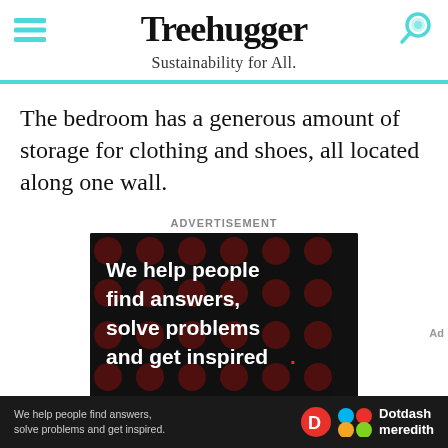Treehugger — Sustainability for All.
The bedroom has a generous amount of storage for clothing and shoes, all located along one wall.
Advertisement
[Figure (infographic): Advertisement banner with black background and dark red dots pattern. White bold text reads: 'We help people find answers, solve problems and get inspired.' with red period. 'LEARN MORE' at bottom. Dotdash Meredith branding.]